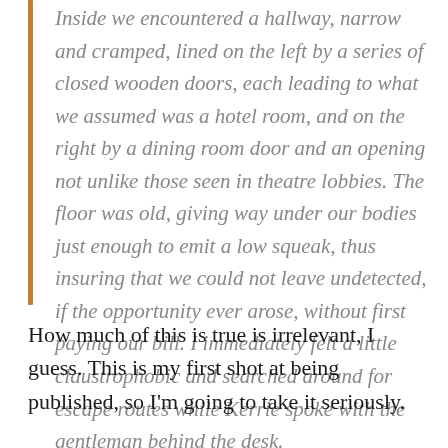Inside we encountered a hallway, narrow and cramped, lined on the left by a series of closed wooden doors, each leading to what we assumed was a hotel room, and on the right by a dining room door and an opening not unlike those seen in theatre lobbies. The floor was old, giving way under our bodies just enough to emit a low squeak, thus insuring that we could not leave undetected, if the opportunity ever arose, without first paying our bill. I immediately felt a little claustrophobic and searched around for escape routes while Kerrie spoke with the gentleman behind the desk.
How much of this is true is irrelevant, I guess. This is my first shot at being published, so I'm going to take it seriously.